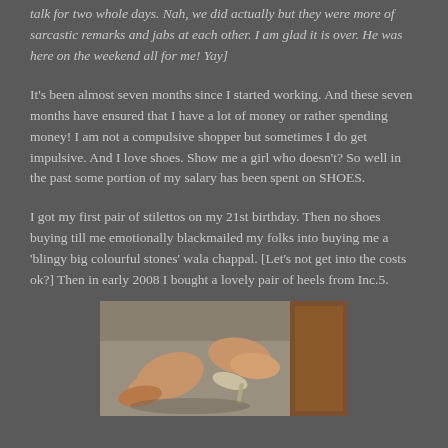talk for two whole days. Nah, we did actually but they were more of sarcastic remarks and jabs at each other. I am glad it is over. He was here on the weekend all for me! Yay]
It's been almost seven months since I started working. And these seven months have ensured that I have a lot of money or rather spending money! I am not a compulsive shopper but sometimes I do get impulsive. And I love shoes. Show me a girl who doesn't? So well in the past some portion of my salary has been spent on SHOES.
I got my first pair of stilettos on my 21st birthday. Then no shoes buying till me emotionally blackmailed my folks into buying me a 'blingy big colourful stones' wala chappal. [Let's not get into the costs ok?] Then in early 2008 I bought a lovely pair of heels from Inc.5.
[Figure (photo): Photo of feet wearing heels on a bed/surface]